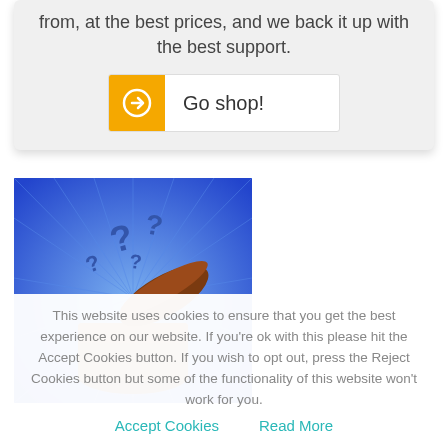from, at the best prices, and we back it up with the best support.
Go shop!
[Figure (illustration): An open brown jar/box on a blue radial background with question marks floating out of it]
This website uses cookies to ensure that you get the best experience on our website. If you're ok with this please hit the Accept Cookies button. If you wish to opt out, press the Reject Cookies button but some of the functionality of this website won't work for you.
Accept Cookies
Read More